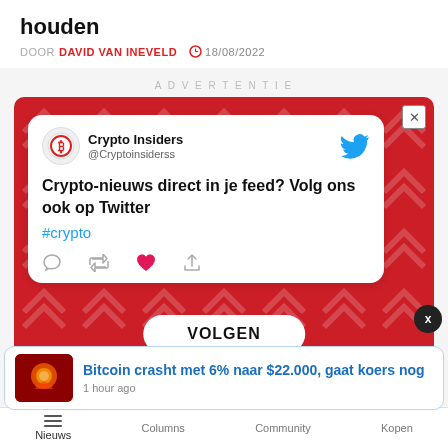houden
DOOR DAVID VAN INEVELD  18/08/2022
ADVERTENTIE
[Figure (screenshot): Advertisement banner showing a Crypto Insiders Twitter card on a red background. The card shows the Crypto Insiders profile with @Cryptoinsiderss handle, a blue Twitter bird icon, tweet text 'Crypto-nieuws direct in je feed? Volg ons ook op Twitter #crypto', action icons (comment, retweet, like heart, share), and a VOLGEN (follow) button at the bottom.]
Bitcoin crasht met 6% naar $22.000, gaat koers nog — 1 hour ago
Nieuws    Columns    Community    Kopen